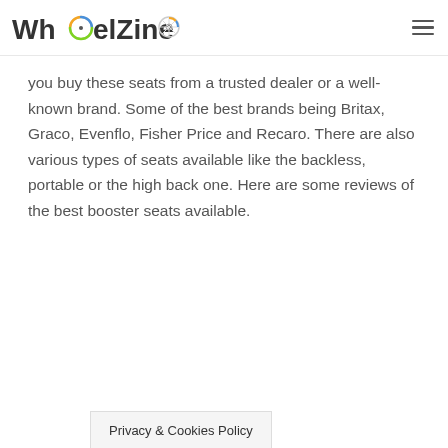WheelZine
you buy these seats from a trusted dealer or a well-known brand. Some of the best brands being Britax, Graco, Evenflo, Fisher Price and Recaro. There are also various types of seats available like the backless, portable or the high back one. Here are some reviews of the best booster seats available.
Privacy & Cookies Policy